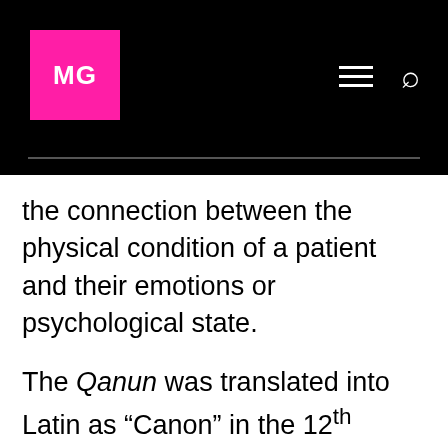MG
the connection between the physical condition of a patient and their emotions or psychological state.
The Qanun was translated into Latin as “Canon” in the 12th century and subsequently went through 15 more editions in Latin, one in Hebrew, and a partial copy in English. It served as the chief guide to medicinal practices in the West for many centuries after its translation.